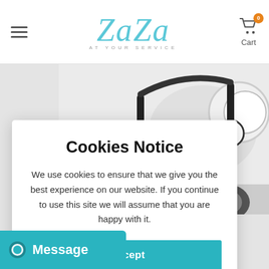[Figure (screenshot): Website header with hamburger menu icon on left, ZaZa At Your Service logo in center in teal cursive script, and shopping cart icon with orange badge showing 0 and Cart label on right]
[Figure (photo): Background photo showing white headphones and tech accessories on a light background]
Cookies Notice
We use cookies to ensure that we give you the best experience on our website. If you continue to use this site we will assume that you are happy with it.
[Figure (screenshot): Blue 'I Accept' button for the cookies notice]
[Figure (screenshot): Teal Message chat widget button in bottom left corner with speech bubble icon and 'Message' text]